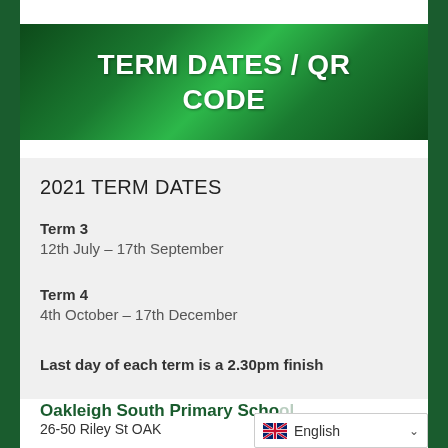[Figure (illustration): Green textured banner with white bold text reading 'TERM DATES / QR CODE']
2021 TERM DATES
Term 3
12th July – 17th September
Term 4
4th October – 17th December
Last day of each term is a 2.30pm finish
Oakleigh South P... S...
26-50 Riley St OAK...